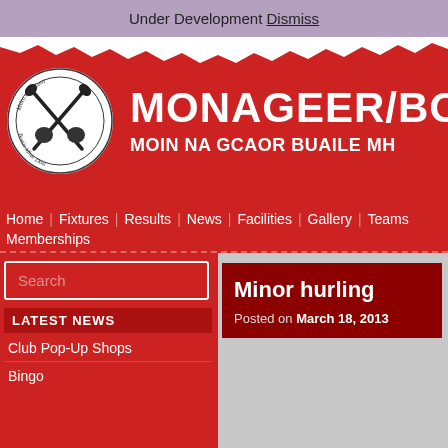Under Development Dismiss
[Figure (logo): Monageer/Boolavogue GAA club circular logo with crossed hurling sticks and text 'Móin na gCaor' and 'Buaile Mhac Dóis']
MONAGEER/BO... MOIN NA GCAOR BUAILE MH...
Home | Fixtures | Results | News | Facilities | Gallery | Teams
Memberships
Search
LATEST NEWS
Club Pop-Up Shops
Bingo
Minor hurling
Posted on March 18, 2013